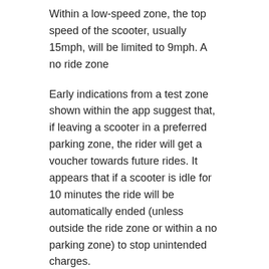Within a low-speed zone, the top speed of the scooter, usually 15mph, will be limited to 9mph. A no ride zone
Early indications from a test zone shown within the app suggest that, if leaving a scooter in a preferred parking zone, the rider will get a voucher towards future rides. It appears that if a scooter is idle for 10 minutes the ride will be automatically ended (unless outside the ride zone or within a no parking zone) to stop unintended charges.
To start or end a ride the phone running the app will need to have internet access, so it won't be possible to use a device without a data connection of some sort.